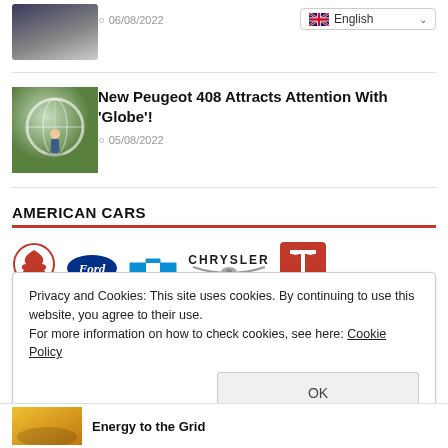[Figure (photo): Thumbnail of a car on a road, dark sky]
06/08/2022
[Figure (screenshot): English language selector dropdown]
[Figure (photo): Person inside a large transparent globe/sphere]
New Peugeot 408 Attracts Attention With 'Globe'!
05/08/2022
AMERICAN CARS
[Figure (logo): Logos of American car brands: Dodge, Ford, Chevrolet, Chrysler, Tesla]
Privacy and Cookies: This site uses cookies. By continuing to use this website, you agree to their use.
For more information on how to check cookies, see here: Cookie Policy
OK
[Figure (photo): Partial thumbnail of a yellow car]
Energy to the Grid